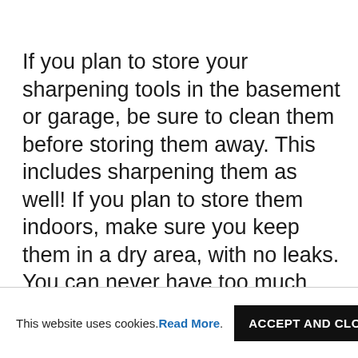If you plan to store your sharpening tools in the basement or garage, be sure to clean them before storing them away. This includes sharpening them as well! If you plan to store them indoors, make sure you keep them in a dry area, with no leaks. You can never have too much moisture in this environment, so it’s always a good idea to keep your sharpening tools in a dry place and away from water.
This website uses cookies. Read More. ACCEPT AND CLOSE